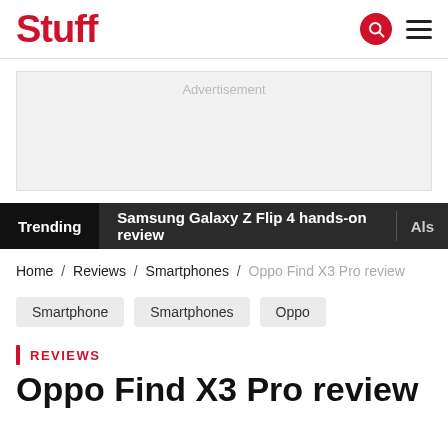Stuff
[Figure (other): Advertisement placeholder box]
Trending  Samsung Galaxy Z Flip 4 hands-on review  Als
Home / Reviews / Smartphones / Oppo Find X3 Pro review
Smartphone  Smartphones  Oppo
REVIEWS
Oppo Find X3 Pro review